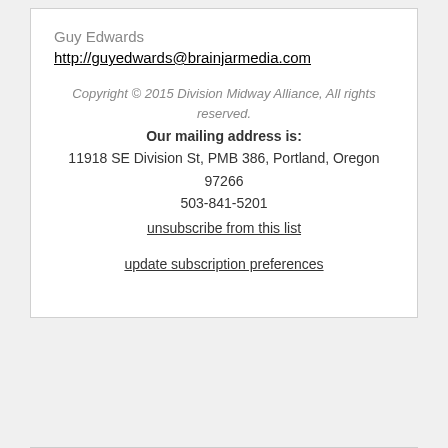Guy Edwards
http://guyedwards@brainjarmedia.com
Copyright © 2015 Division Midway Alliance, All rights reserved.
Our mailing address is:
11918 SE Division St, PMB 386, Portland, Oregon 97266
503-841-5201
unsubscribe from this list

update subscription preferences